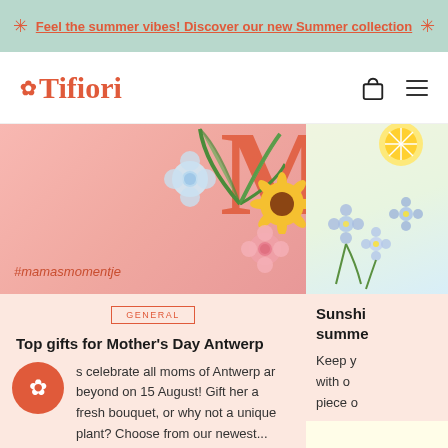Feel the summer vibes! Discover our new Summer collection
[Figure (logo): Tifiori flower logo with red brand name]
[Figure (photo): Pink Mother's Day promotional banner with flowers and hashtag #mamasmomentje]
GENERAL
Top gifts for Mother's Day Antwerp
celebrate all moms of Antwerp ar beyond on 15 August! Gift her a fresh bouquet, or why not a unique plant? Choose from our newest...
[Figure (photo): Yellow/light background with blue flowers - summer collection image]
Sunshine summer
Keep y with o piece o